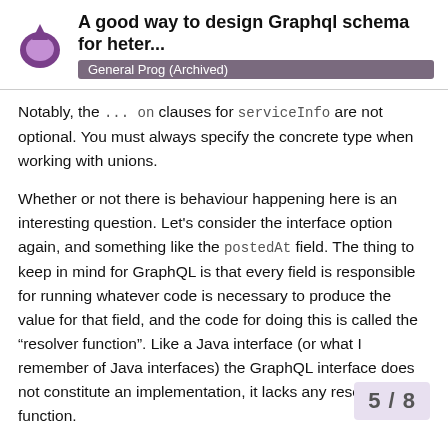A good way to design Graphql schema for heter... | General Prog (Archived)
Notably, the ... on clauses for serviceInfo are not optional. You must always specify the concrete type when working with unions.
Whether or not there is behaviour happening here is an interesting question. Let's consider the interface option again, and something like the postedAt field. The thing to keep in mind for GraphQL is that every field is responsible for running whatever code is necessary to produce the value for that field, and the code for doing this is called the “resolver function”. Like a Java interface (or what I remember of Java interfaces) the GraphQL interface does not constitute an implementation, it lacks any resolver function.
It's up to the facebook_message and twitter_message fields to actually accomplish something. By default this just does a Map.get in Elixir but let's flesh that out a difference.
5 / 8